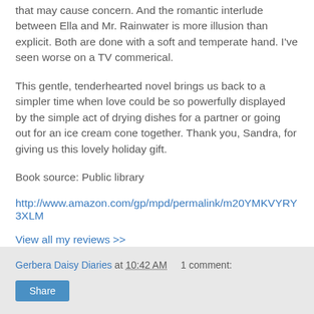that may cause concern. And the romantic interlude between Ella and Mr. Rainwater is more illusion than explicit. Both are done with a soft and temperate hand. I've seen worse on a TV commerical.
This gentle, tenderhearted novel brings us back to a simpler time when love could be so powerfully displayed by the simple act of drying dishes for a partner or going out for an ice cream cone together. Thank you, Sandra, for giving us this lovely holiday gift.
Book source: Public library
http://www.amazon.com/gp/mpd/permalink/m20YMKVYRY3XLM
View all my reviews >>
Gerbera Daisy Diaries at 10:42 AM    1 comment: